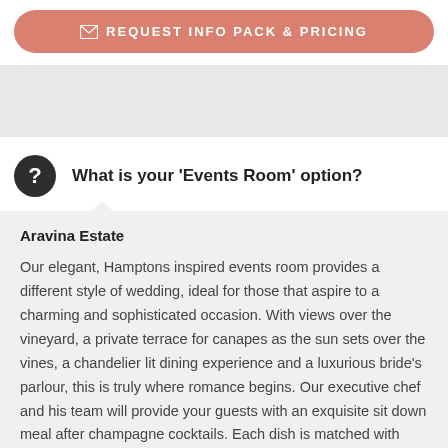[Figure (other): Button with envelope icon: REQUEST INFO PACK & PRICING on salmon/terracotta rounded rectangle background]
[Figure (other): Gray banner / placeholder image area]
What is your 'Events Room' option?
Aravina Estate
Our elegant, Hamptons inspired events room provides a different style of wedding, ideal for those that aspire to a charming and sophisticated occasion. With views over the vineyard, a private terrace for canapes as the sun sets over the vines, a chandelier lit dining experience and a luxurious bride's parlour, this is truly where romance begins. Our executive chef and his team will provide your guests with an exquisite sit down meal after champagne cocktails. Each dish is matched with Aravina wine and personal service from our experienced wedding team for